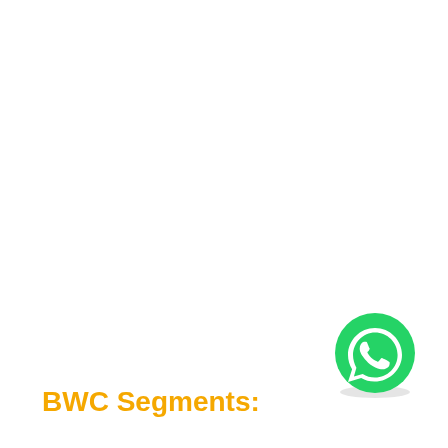[Figure (logo): WhatsApp logo — green circle with white speech bubble and phone handset icon, with a subtle drop shadow]
BWC Segments: